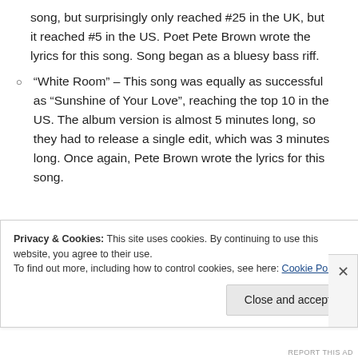song, but surprisingly only reached #25 in the UK, but it reached #5 in the US. Poet Pete Brown wrote the lyrics for this song. Song began as a bluesy bass riff.
“White Room” – This song was equally as successful as “Sunshine of Your Love”, reaching the top 10 in the US. The album version is almost 5 minutes long, so they had to release a single edit, which was 3 minutes long. Once again, Pete Brown wrote the lyrics for this song.
Privacy & Cookies: This site uses cookies. By continuing to use this website, you agree to their use. To find out more, including how to control cookies, see here: Cookie Policy
Close and accept